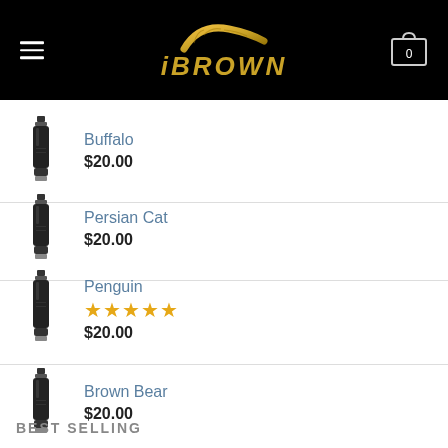iBROWN
Buffalo $20.00
Persian Cat $20.00
Penguin ★★★★★ $20.00
Brown Bear $20.00
BEST SELLING